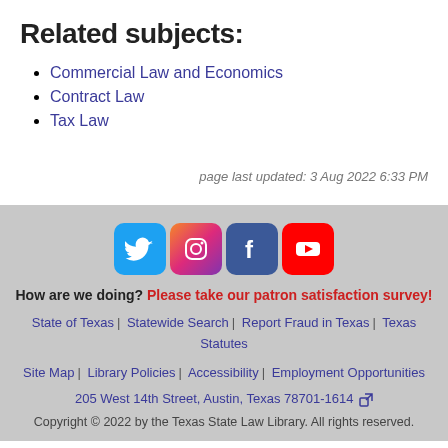Related subjects:
Commercial Law and Economics
Contract Law
Tax Law
page last updated: 3 Aug 2022 6:33 PM
How are we doing? Please take our patron satisfaction survey! | State of Texas | Statewide Search | Report Fraud in Texas | Texas Statutes | Site Map | Library Policies | Accessibility | Employment Opportunities | 205 West 14th Street, Austin, Texas 78701-1614 | Copyright © 2022 by the Texas State Law Library. All rights reserved.